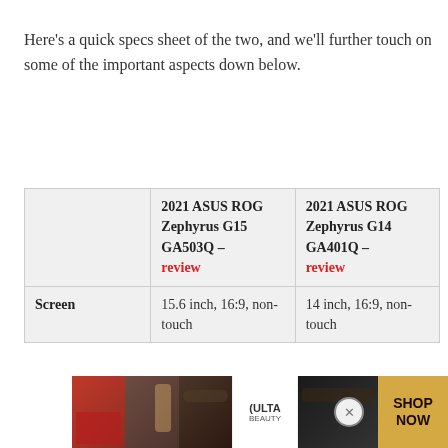Here's a quick specs sheet of the two, and we'll further touch on some of the important aspects down below.
|  | 2021 ASUS ROG Zephyrus G15 GA503Q – review | 2021 ASUS ROG Zephyrus G14 GA401Q – review |
| --- | --- | --- |
| Screen | 15.6 inch, 16:9, non-touch | 14 inch, 16:9, non-touch |
[Figure (other): ULTA Beauty advertisement banner at the bottom of the page showing makeup/beauty imagery with 'SHOP NOW' call to action]